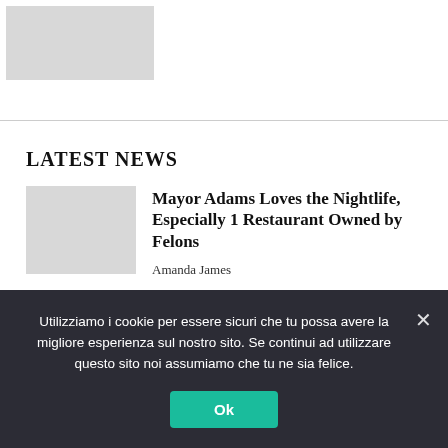[Figure (photo): Placeholder image at top of page, partially visible gray box]
LATEST NEWS
[Figure (photo): Gray thumbnail image for first news article]
Mayor Adams Loves the Nightlife, Especially 1 Restaurant Owned by Felons
Amanda James
[Figure (photo): Gray thumbnail with play circle for second news article]
JLo and Ben Do it Again! This Time with Fi... and E... W... Wh...
Utilizziamo i cookie per essere sicuri che tu possa avere la migliore esperienza sul nostro sito. Se continui ad utilizzare questo sito noi assumiamo che tu ne sia felice.